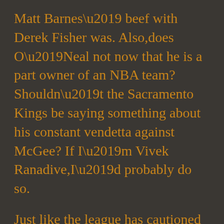Matt Barnes’ beef with Derek Fisher was. Also,does O’Neal not now that he is a part owner of an NBA team? Shouldn’t the Sacramento Kings be saying something about his constant vendetta against McGee? If I’m Vivek Ranadive,I’d probably do so.
Just like the league has cautioned teams against mocking or ridiculing other teams on social media,I think this needs to be extended to its broadcasters.
I’m fine with commentators offering opinions and even criticisms of players,but when it goes too far as the bullying O’Neal